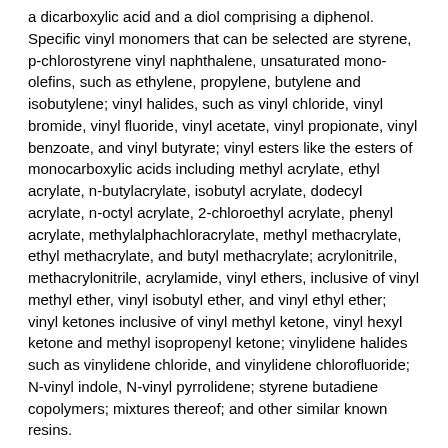a dicarboxylic acid and a diol comprising a diphenol. Specific vinyl monomers that can be selected are styrene, p-chlorostyrene vinyl naphthalene, unsaturated mono-olefins, such as ethylene, propylene, butylene and isobutylene; vinyl halides, such as vinyl chloride, vinyl bromide, vinyl fluoride, vinyl acetate, vinyl propionate, vinyl benzoate, and vinyl butyrate; vinyl esters like the esters of monocarboxylic acids including methyl acrylate, ethyl acrylate, n-butylacrylate, isobutyl acrylate, dodecyl acrylate, n-octyl acrylate, 2-chloroethyl acrylate, phenyl acrylate, methylalphachloracrylate, methyl methacrylate, ethyl methacrylate, and butyl methacrylate; acrylonitrile, methacrylonitrile, acrylamide, vinyl ethers, inclusive of vinyl methyl ether, vinyl isobutyl ether, and vinyl ethyl ether; vinyl ketones inclusive of vinyl methyl ketone, vinyl hexyl ketone and methyl isopropenyl ketone; vinylidene halides such as vinylidene chloride, and vinylidene chlorofluoride; N-vinyl indole, N-vinyl pyrrolidene; styrene butadiene copolymers; mixtures thereof; and other similar known resins.
As one toner resin, there can be selected the esterification products of a dicarboxylic acid and a diol comprising a diphenol, reference U.S. Pat. No. 3,590,000, the disclosure